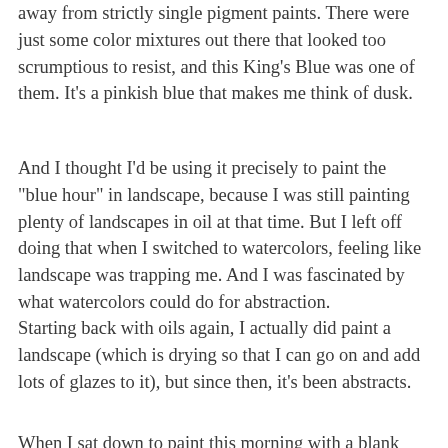away from strictly single pigment paints. There were just some color mixtures out there that looked too scrumptious to resist, and this King's Blue was one of them. It's a pinkish blue that makes me think of dusk.
And I thought I'd be using it precisely to paint the "blue hour" in landscape, because I was still painting plenty of landscapes in oil at that time. But I left off doing that when I switched to watercolors, feeling like landscape was trapping me. And I was fascinated by what watercolors could do for abstraction.
Starting back with oils again, I actually did paint a landscape (which is drying so that I can go on and add lots of glazes to it), but since then, it's been abstracts.
When I sat down to paint this morning with a blank canvas, since my other stuff wasn't dry enough to work on, I decided to try